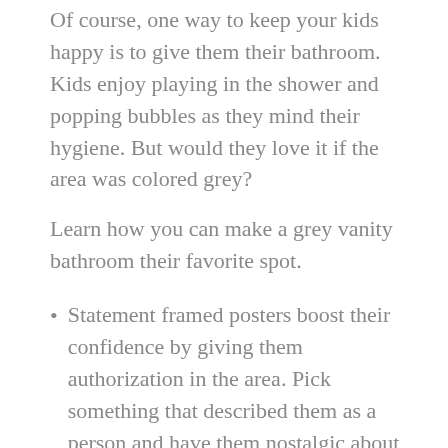Of course, one way to keep your kids happy is to give them their bathroom. Kids enjoy playing in the shower and popping bubbles as they mind their hygiene. But would they love it if the area was colored grey?
Learn how you can make a grey vanity bathroom their favorite spot.
Statement framed posters boost their confidence by giving them authorization in the area. Pick something that described them as a person and have them nostalgic about it.
Printed wallpapers make them jolly and have a playful vibe, so you might as well add this.
Traditional grey cabinets with divided compartments and aluminum mirrors match,